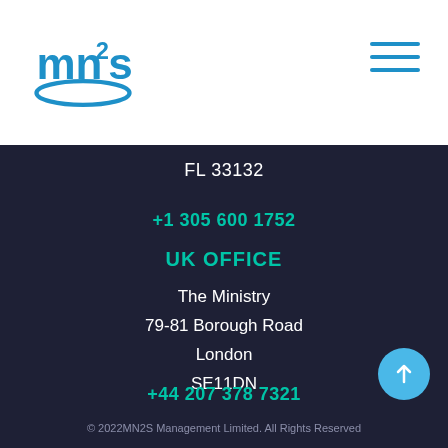[Figure (logo): MN2S company logo in blue]
FL 33132
+1 305 600 1752
UK OFFICE
The Ministry
79-81 Borough Road
London
SE11DN
+44 207 378 7321
© 2022MN2S Management Limited. All Rights Reserved